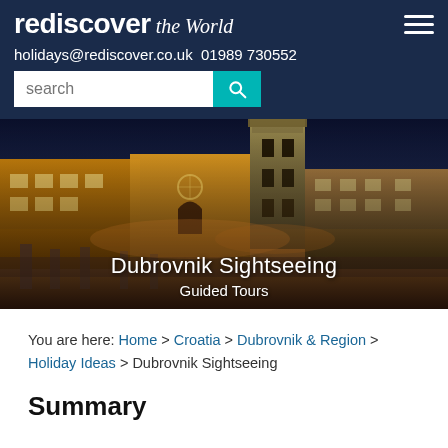rediscover the World
holidays@rediscover.co.uk  01989 730552
[Figure (photo): Nighttime photograph of Dubrovnik or a Croatian city square with illuminated historic buildings, a church tower, and ancient ruins in the foreground under a dark blue sky.]
Dubrovnik Sightseeing
Guided Tours
You are here: Home > Croatia > Dubrovnik & Region > Holiday Ideas > Dubrovnik Sightseeing
Summary